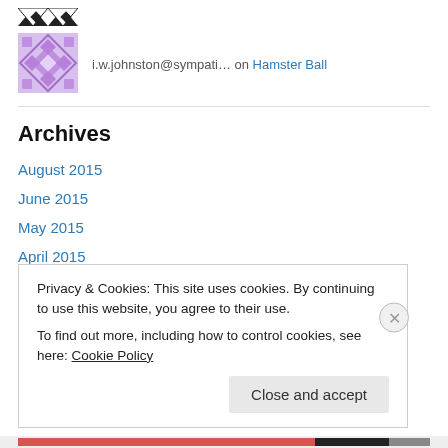[Figure (illustration): Top avatar icon — geometric black and white pattern (partial, top crop)]
[Figure (illustration): Main avatar icon — purple/lavender geometric diamond pattern]
i.w.johnston@sympati… on Hamster Ball
Archives
August 2015
June 2015
May 2015
April 2015
December 2014
September 2014
Privacy & Cookies: This site uses cookies. By continuing to use this website, you agree to their use.
To find out more, including how to control cookies, see here: Cookie Policy
Close and accept